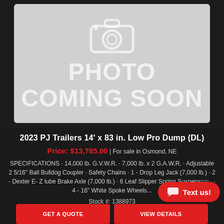[Figure (photo): Photo coming soon placeholder with camera icon, light gray background, text reads PHOTO COMING SOON]
2023 PJ Trailers 14' x 83 in. Low Pro Dump (DL)
Price: $13,785.00 | For sale in Osmond, NE
SPECIFICATIONS · 14,000 lb. G.V.W.R. · 7,000 lb. x 2 G.A.W.R. · Adjustable 2 5/16" Ball Bulldog Coupler · Safety Chains · 1 - Drop Leg Jack (7,000 lb.) · 2 - Dexter E- Z lube Brake Axle (7,000 lb.) · 6 Leaf Slipper Spring Suspension · 4 - 16" White Spoke Wheels...
Stock #: 1388973